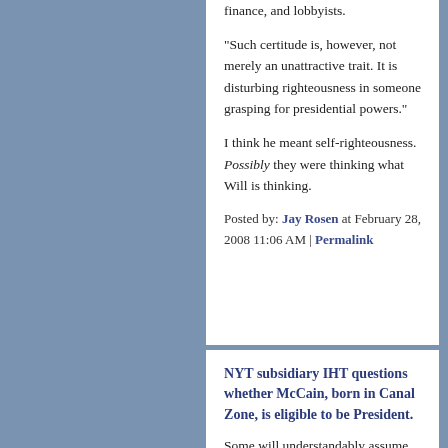finance, and lobbyists.
"Such certitude is, however, not merely an unattractive trait. It is disturbing righteousness in someone grasping for presidential powers."
I think he meant self-righteousness. Possibly they were thinking what Will is thinking.
Posted by: Jay Rosen at February 28, 2008 11:06 AM | Permalink
NYT subsidiary IHT questions whether McCain, born in Canal Zone, is eligible to be President.
Some will understandably assume that this, combined with the other